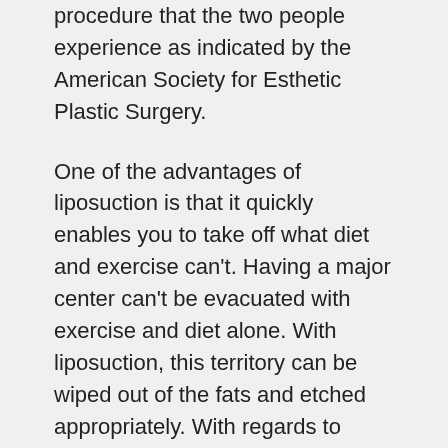procedure that the two people experience as indicated by the American Society for Esthetic Plastic Surgery.
One of the advantages of liposuction is that it quickly enables you to take off what diet and exercise can't. Having a major center can't be evacuated with exercise and diet alone. With liposuction, this territory can be wiped out of the fats and etched appropriately. With regards to machines being used, you can visit reviews of third-generation lipolasers.
Fat cells in the issue zones are expelled with liposuction consequently the capacity to deliver them is diminished. To consistently have ideal outcomes, you ought to follow a method with diet and